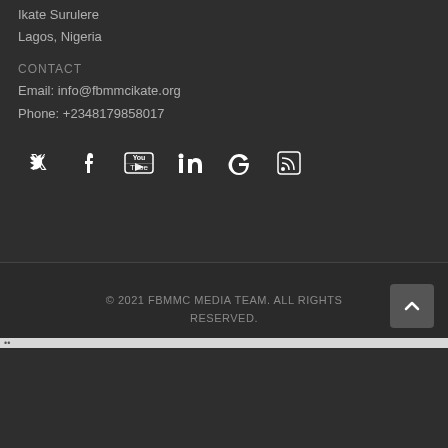Ikate Surulere
Lagos, Nigeria
CONTACT
Email: info@fbmmcikate.org
Phone: +2348179858017
[Figure (infographic): Social media icons: Twitter, Facebook, YouTube, LinkedIn, Google, RSS]
© 2021 FBMMC MEDIA TEAM. ALL RIGHTS RESERVED.